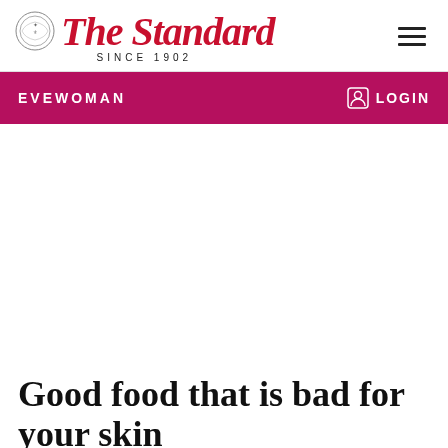The Standard SINCE 1902
EVEWOMAN
[Figure (other): Advertisement placeholder / blank white space]
Good food that is bad for your skin